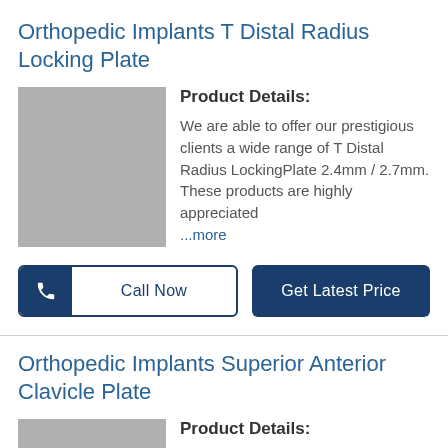Orthopedic Implants T Distal Radius Locking Plate
[Figure (photo): Gray placeholder image for T Distal Radius Locking Plate product]
Product Details:
We are able to offer our prestigious clients a wide range of T Distal Radius LockingPlate 2.4mm / 2.7mm. These products are highly appreciated ...more
Call Now
Get Latest Price
Orthopedic Implants Superior Anterior Clavicle Plate
[Figure (photo): Gray placeholder image for Superior Anterior Clavicle Plate product]
Product Details:
We are offering a wide range of